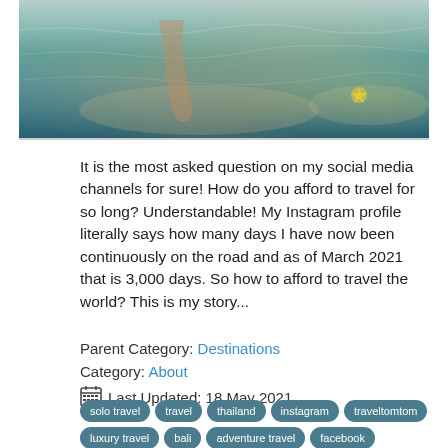[Figure (photo): Underwater/shallow water scene with sandy bottom, teal-blue water, and what appears to be feet or fish near the surface]
It is the most asked question on my social media channels for sure! How do you afford to travel for so long? Understandable! My Instagram profile literally says how many days I have now been continuously on the road and as of March 2021 that is 3,000 days. So how to afford to travel the world? This is my story...
Parent Category: Destinations
Category: About
📅 Last Updated: 18 May 2021
solo travel
travel
thailand
instagram
traveltomtom
luxury travel
bali
adventure travel
facebook
maldives